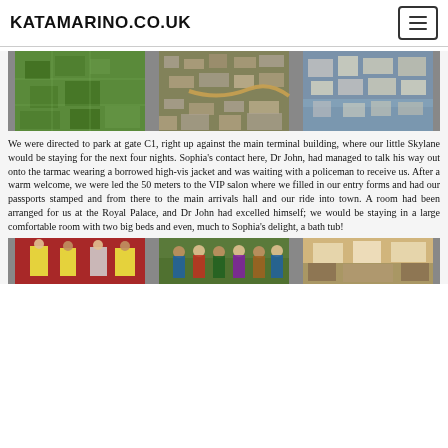KATAMARINO.CO.UK
[Figure (photo): Three aerial photographs side by side showing green fields/jungle, a town from above, and flooded buildings]
We were directed to park at gate C1, right up against the main terminal building, where our little Skylane would be staying for the next four nights. Sophia's contact here, Dr John, had managed to talk his way out onto the tarmac wearing a borrowed high-vis jacket and was waiting with a policeman to receive us. After a warm welcome, we were led the 50 meters to the VIP salon where we filled in our entry forms and had our passports stamped and from there to the main arrivals hall and our ride into town. A room had been arranged for us at the Royal Palace, and Dr John had excelled himself; we would be staying in a large comfortable room with two big beds and even, much to Sophia's delight, a bath tub!
[Figure (photo): Three photos side by side at the bottom: people in safety vests/uniforms, people in a group, and an interior room shot]